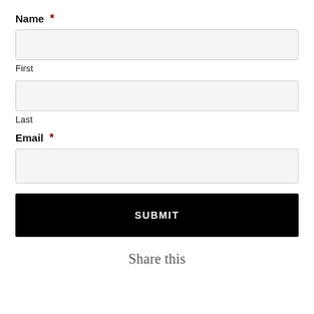Name *
First
Last
Email *
SUBMIT
Share this